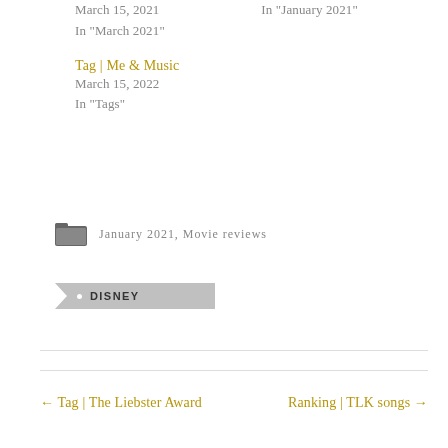March 15, 2021
In "March 2021"
In "January 2021"
Tag | Me & Music
March 15, 2022
In "Tags"
January 2021, Movie reviews
DISNEY
← Tag | The Liebster Award
Ranking | TLK songs →